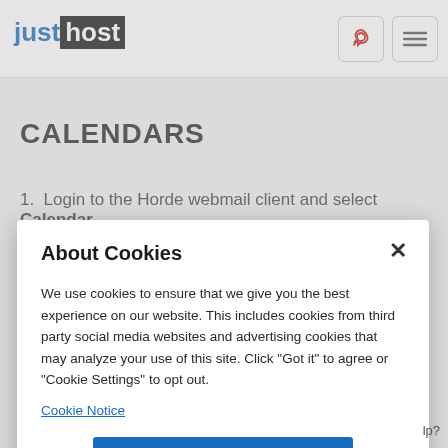[Figure (logo): JustHost logo with 'just' in blue and 'host' in white on black background]
CALENDARS
1.  Login to the Horde webmail client and select Calendar...
About Cookies
We use cookies to ensure that we give you the best experience on our website. This includes cookies from third party social media websites and advertising cookies that may analyze your use of this site. Click "Got it" to agree or "Cookie Settings" to opt out.
Cookie Notice
Got It
Cookies Settings